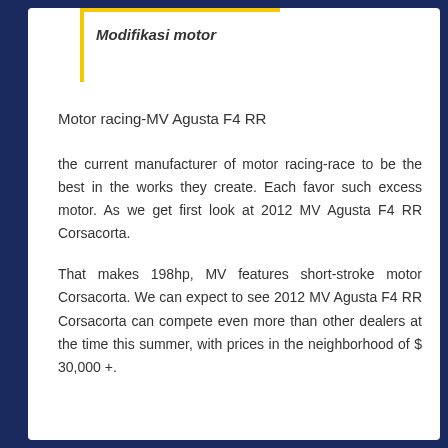Modifikasi motor
Motor racing-MV Agusta F4 RR
the current manufacturer of motor racing-race to be the best in the works they create. Each favor such excess motor. As we get first look at 2012 MV Agusta F4 RR Corsacorta.
That makes 198hp, MV features short-stroke motor Corsacorta. We can expect to see 2012 MV Agusta F4 RR Corsacorta can compete even more than other dealers at the time this summer, with prices in the neighborhood of $ 30,000 +.